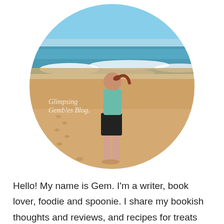[Figure (photo): Circular cropped photo of a young woman with a red ponytail standing on a sandy beach facing the ocean, wearing a teal sports bra and black shorts. Footprints in the sand. Ocean waves and blue sky in background. Watermark text reads 'Glimpsing Gembles Blog.' in white italic.]
Hello! My name is Gem. I'm a writer, book lover, foodie and spoonie. I share my bookish thoughts and reviews, and recipes for treats that are perfect for bookish moments (including intolerance-friendly yumminess!). I hope you enjoy looking